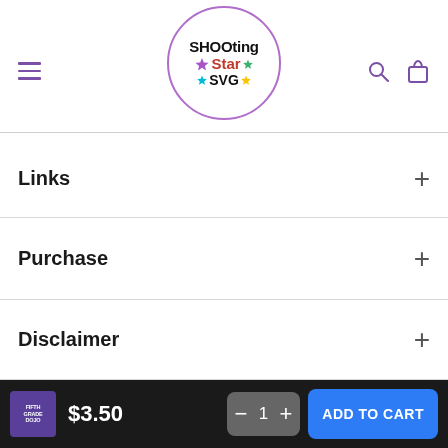[Figure (logo): Shooting Star SVG logo — circular purple-bordered badge with colorful star decorations, text reads SHOOting Star SVG]
Links
Purchase
Disclaimer
Get in Touch!
$3.50
1
ADD TO CART